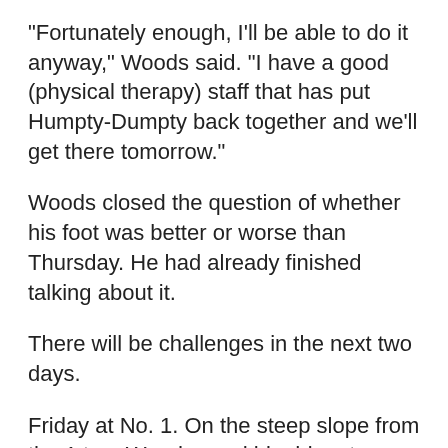“Fortunately enough, I’ll be able to do it anyway,” Woods said. “I have a good (physical therapy) staff that has put Humpty-Dumpty back together and we’ll get there tomorrow.”
Woods closed the question of whether his foot was better or worse than Thursday. He had already finished talking about it.
There will be challenges in the next two days.
Friday at No. 1. On the steep slope from the 1 tee, Woods used his driver to sweep his way down the hill. No. The 10 tee stairs were also going slow. The ball in the bunker can mean awkward stance and unstable feet.